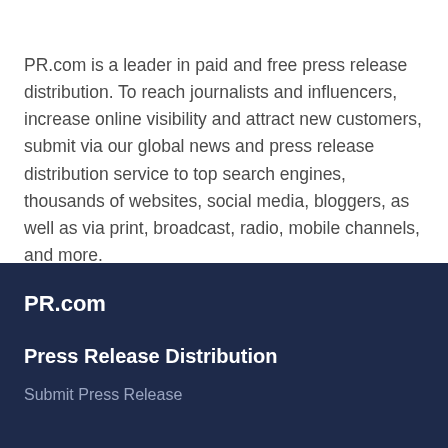PR.com is a leader in paid and free press release distribution. To reach journalists and influencers, increase online visibility and attract new customers, submit via our global news and press release distribution service to top search engines, thousands of websites, social media, bloggers, as well as via print, broadcast, radio, mobile channels, and more.
PR.com
Press Release Distribution
Submit Press Release